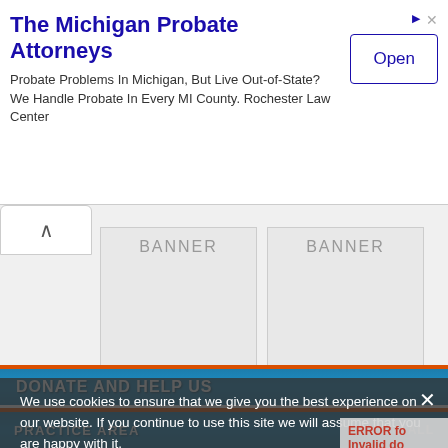[Figure (screenshot): Advertisement banner for The Michigan Probate Attorneys - Rochester Law Center with Open button]
[Figure (screenshot): Banner placeholder row with chevron up button and two BANNER placeholder boxes]
DONATE AND HELP US
[Figure (screenshot): PayPal Donate button with payment card icons: VISA, Mastercard, Maestro, American Express, Discover, JCB]
FOLLOW US
[Figure (screenshot): Social media icons: Google+, Facebook, Twitter, LinkedIn, Pinterest, YouTube]
We use cookies to ensure that we give you the best experience on our website. If you continue to use this site we will assume that you are happy with it.
Ok  Privacy policy
ERROR for Invalid do
PRACTICE AREA
VIEW ALL